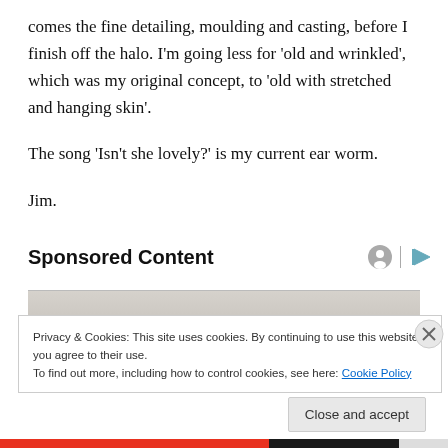comes the fine detailing, moulding and casting, before I finish off the halo. I'm going less for 'old and wrinkled', which was my original concept, to 'old with stretched and hanging skin'.
The song 'Isn't she lovely?' is my current ear worm.
Jim.
Sponsored Content
[Figure (photo): Partial photo of a blonde woman with eyes closed, used as sponsored content advertisement background]
Privacy & Cookies: This site uses cookies. By continuing to use this website, you agree to their use.
To find out more, including how to control cookies, see here: Cookie Policy
Close and accept